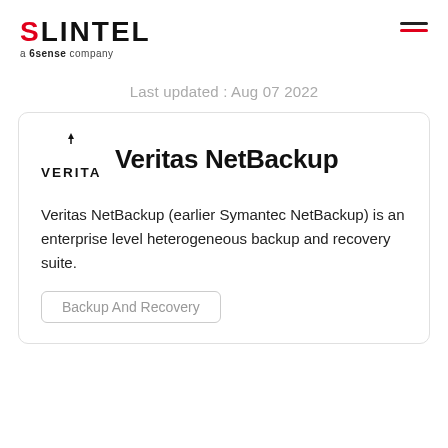SLINTEL a 6sense company
Last updated : Aug 07 2022
[Figure (logo): Veritas logo — stylized VERITAS wordmark with a decorative top mark]
Veritas NetBackup
Veritas NetBackup (earlier Symantec NetBackup) is an enterprise level heterogeneous backup and recovery suite.
Backup And Recovery